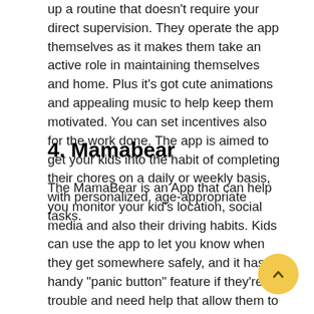up a routine that doesn't require your direct supervision. They operate the app themselves as it makes them take an active role in maintaining themselves and home. Plus it's got cute animations and appealing music to help keep them motivated. You can set incentives also for the work done. The app is aimed to get your kids into the habit of completing their chores on a daily or weekly basis, with personalized, age-appropriate tasks.
4. Mamabear
The MamaBear is an App that can help you monitor your kid's location, social media and also their driving habits. Kids can use the app to let you know when they get somewhere safely, and it has a handy "panic button" feature if they're in trouble and need help that allow them to contact 911 with the touch of one button or to discreetly call parents to come pick them up.